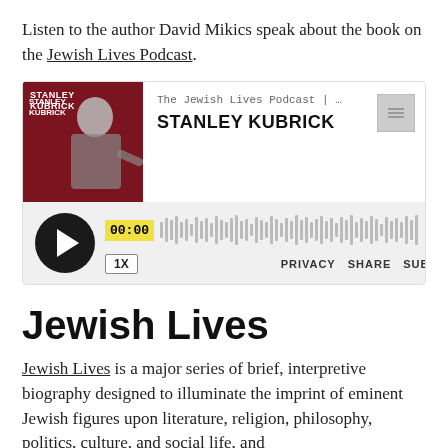Listen to the author David Mikics speak about the book on the Jewish Lives Podcast.
[Figure (screenshot): Embedded podcast player for 'Stanley Kubrick' episode of The Jewish Lives Podcast. Shows podcast cover art with dark red background and black-and-white photo of Stanley Kubrick, with audio player controls showing timestamp 00:00 and duration 21:41, playback speed 1X, and options PRIVACY, SHARE, SUBSCRIBE.]
Jewish Lives
Jewish Lives is a major series of brief, interpretive biography designed to illuminate the imprint of eminent Jewish figures upon literature, religion, philosophy, politics, culture, and social life, and